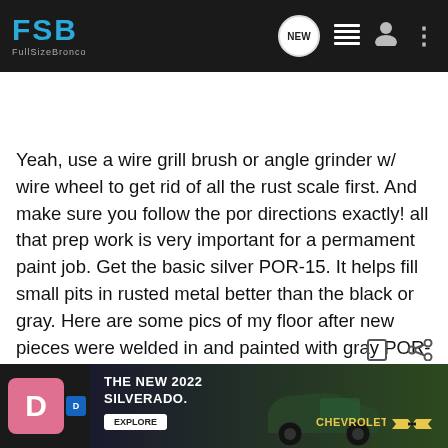FSB FullSizeBronco — navigation bar with logo, NEW button, list icon, user icon, menu icon
Search Community
Yeah, use a wire grill brush or angle grinder w/ wire wheel to get rid of all the rust scale first. And make sure you follow the por directions exactly! all that prep work is very important for a permament paint job. Get the basic silver POR-15. It helps fill small pits in rusted metal better than the black or gray. Here are some pics of my floor after new pieces were welded in and painted with gray POR-15. My rust was 20x worse than yours.
[Figure (screenshot): Chevrolet advertisement banner showing THE NEW 2022 SILVERADO. with an Explore button and Chevrolet logo, dark background with truck silhouette]